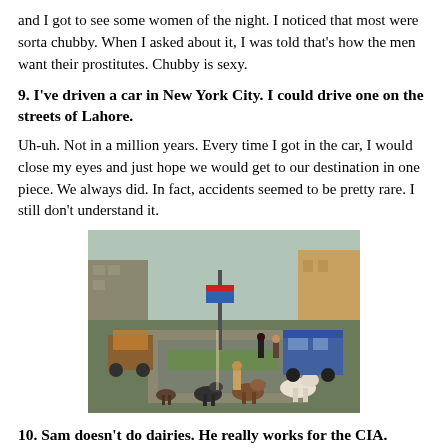and I got to see some women of the night. I noticed that most were sorta chubby. When I asked about it, I was told that's how the men want their prostitutes. Chubby is sexy.
9. I've driven a car in New York City. I could drive one on the streets of Lahore.
Uh-uh. Not in a million years. Every time I got in the car, I would close my eyes and just hope we would get to our destination in one piece. We always did. In fact, accidents seemed to be pretty rare. I still don't understand it.
[Figure (photo): A busy street scene in Lahore with goats grazing on a grass median in the foreground, a boy tending them, vehicles including a blue mini-bus and rickshaws, and buildings lining both sides of the road.]
10. Sam doesn't do dairies. He really works for the CIA.